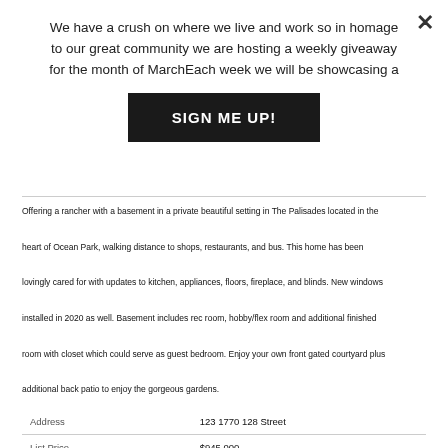We have a crush on where we live and work so in homage to our great community we are hosting a weekly giveaway for the month of MarchEach week we will be showcasing a
[Figure (other): Close (X) button in top right corner of modal overlay]
[Figure (other): Black button with white text reading SIGN ME UP!]
Offering a rancher with a basement in a private beautiful setting in The Palisades located in the heart of Ocean Park, walking distance to shops, restaurants, and bus. This home has been lovingly cared for with updates to kitchen, appliances, floors, fireplace, and blinds. New windows installed in 2020 as well. Basement includes rec room, hobby/flex room and additional finished room with closet which could serve as guest bedroom. Enjoy your own front gated courtyard plus additional back patio to enjoy the gorgeous gardens.
| Address | 123 1770 128 Street |
| List Price | $945,000 |
| Type of Dwelling | Townhouse |